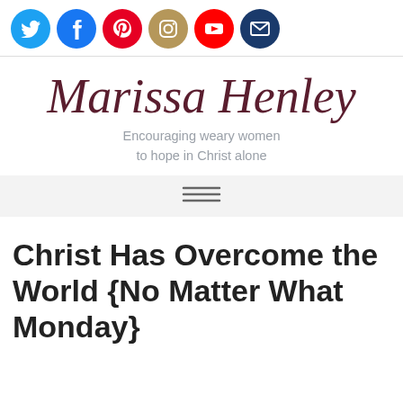Social media icons: Twitter, Facebook, Pinterest, Instagram, YouTube, Email
Marissa Henley
Encouraging weary women to hope in Christ alone
[Figure (other): Hamburger menu navigation bar icon (three horizontal lines)]
Christ Has Overcome the World {No Matter What Monday}